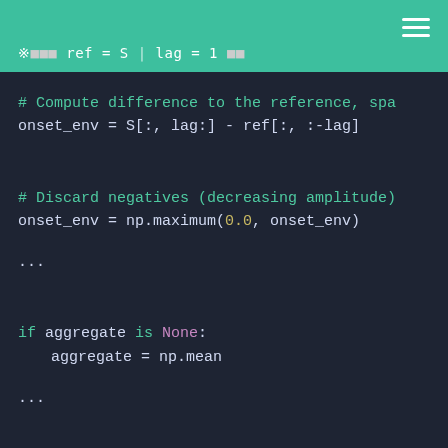※ ref = S | lag = 1
# Compute difference to the reference, spa
onset_env = S[:, lag:] - ref[:, :-lag]

# Discard negatives (decreasing amplitude)
onset_env = np.maximum(0.0, onset_env)
...

if aggregate is None:
    aggregate = np.mean

...

if aggregate:
    onset_env = util.sync(onset_env, chann
                         aggregate=aggre